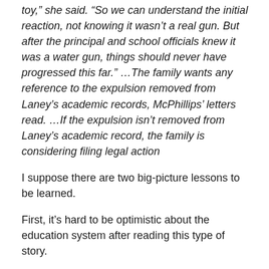toy,” she said. “So we can understand the initial reaction, not knowing it wasn’t a real gun. But after the principal and school officials knew it was a water gun, things should never have progressed this far.” …The family wants any reference to the expulsion removed from Laney’s academic records, McPhillips’ letters read. …If the expulsion isn’t removed from Laney’s academic record, the family is considering filing legal action
I suppose there are two big-picture lessons to be learned.
First, it’s hard to be optimistic about the education system after reading this type of story.
If bureaucrats at government schools don’t have common sense, how can they teach reading, writing, and arithmetic?